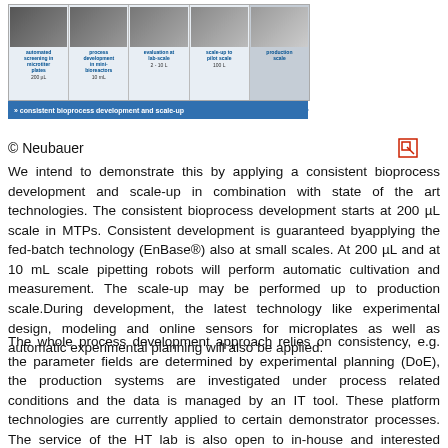[Figure (infographic): Consistent bioprocess development and scale-up diagram showing 5 stages: automated screening in microtiter plates (200 µL), process development in mini-bioreactors (10 mL), evaluation at lab-scale (2-10 L), scale-up to pilot scale (100 L), and production scale. An arrow spans the bottom labeled 'consistent bioprocess development and scale-up'.]
© Neubauer
We intend to demonstrate this by applying a consistent bioprocess development and scale-up in combination with state of the art technologies. The consistent bioprocess development starts at 200 µL scale in MTPs. Consistent development is guaranteed byapplying the fed-batch technology (EnBase®) also at small scales. At 200 µL and at 10 mL scale pipetting robots will perform automatic cultivation and measurement. The scale-up may be performed up to production scale.During development, the latest technology like experimental design, modeling and online sensors for microplates as well as automatic experimental planning will also be applied.
The whole process development approach relies on consistency, e.g. the parameter fields are determined by experimental planning (DoE), the production systems are investigated under process related conditions and the data is managed by an IT tool. These platform technologies are currently applied to certain demonstrator processes. The service of the HT lab is also open to in-house and interested customers.